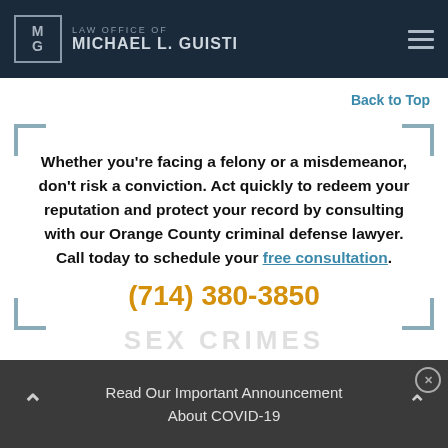LAW OFFICE OF MICHAEL L. GUISTI
Back to Top
Whether you're facing a felony or a misdemeanor, don't risk a conviction. Act quickly to redeem your reputation and protect your record by consulting with our Orange County criminal defense lawyer. Call today to schedule your free consultation.
(714) 380-3850
Read Our Important Announcement About COVID-19